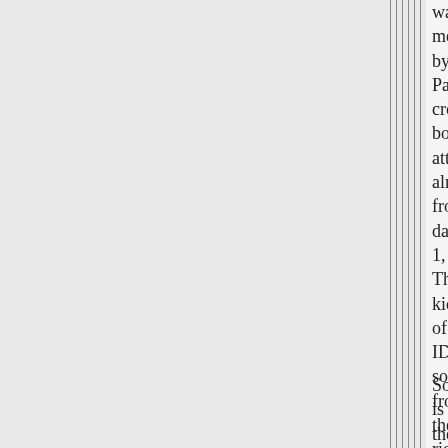was met by Palestinian cross border attacks almost from day 1, The kidnapping of IDF soldiers from the rightful side of the Isreali border by 1) Hamas and 2) Hezbullah was a provocation to an extreme.
So, is the